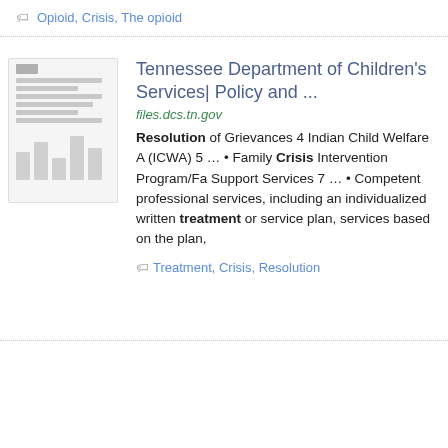Opioid, Crisis, The opioid
Tennessee Department of Children's Services| Policy and ...
files.dcs.tn.gov
Resolution of Grievances 4 Indian Child Welfare A (ICWA) 5 … • Family Crisis Intervention Program/Fa Support Services 7 … • Competent professional services, including an individualized written treatment or service plan, services based on the plan,
Treatment, Crisis, Resolution